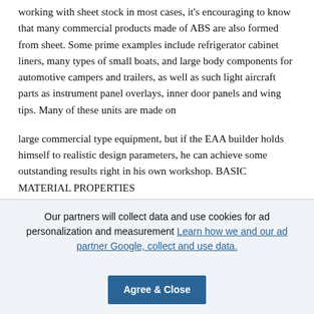working with sheet stock in most cases, it's encouraging to know that many commercial products made of ABS are also formed from sheet. Some prime examples include refrigerator cabinet liners, many types of small boats, and large body components for automotive campers and trailers, as well as such light aircraft parts as instrument panel overlays, inner door panels and wing tips. Many of these units are made on
large commercial type equipment, but if the EAA builder holds himself to realistic design parameters, he can achieve some outstanding results right in his own workshop. BASIC MATERIAL PROPERTIES
Our partners will collect data and use cookies for ad personalization and measurement Learn how we and our ad partner Google, collect and use data. Agree & Close